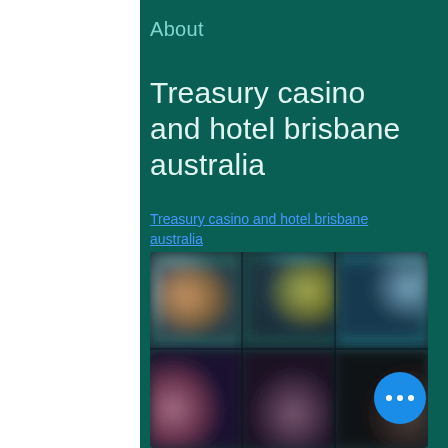About
Treasury casino and hotel brisbane australia
Treasury casino and hotel brisbane australia
[Figure (photo): Blurred screenshot of casino games interface showing various colorful game thumbnails arranged in a grid, with a blue floating action button with three dots in the bottom right corner.]